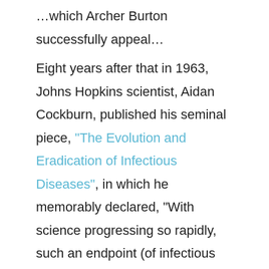...which Archer Burton successfully appeal... Eight years after that in 1963, Johns Hopkins scientist, Aidan Cockburn, published his seminal piece, "The Evolution and Eradication of Infectious Diseases", in which he memorably declared, "With science progressing so rapidly, such an endpoint (of infectious diseases) is almost inevitable." And finally, in 1969, Surgeon General William H. Stewart, declared with complete confidence that it was time to "close the book on infectious diseases."